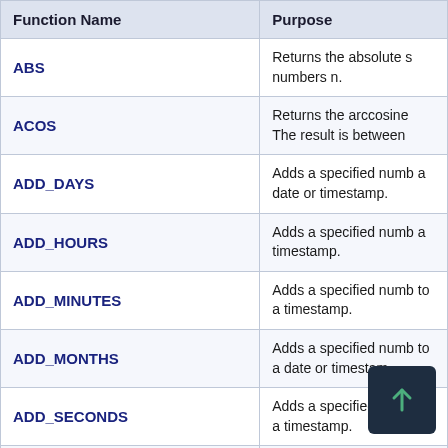| Function Name | Purpose |
| --- | --- |
| ABS | Returns the absolute s numbers n. |
| ACOS | Returns the arccosine The result is between |
| ADD_DAYS | Adds a specified numb a date or timestamp. |
| ADD_HOURS | Adds a specified numb a timestamp. |
| ADD_MINUTES | Adds a specified numb to a timestamp. |
| ADD_MONTHS | Adds a specified numb to a date or timestamp |
| ADD_SECONDS | Adds a specified numb to a timestamp. |
| ADD_WEEKS | Adds a specified numb to a date or timestamp |
| ADD_YEARS | Adds a specified numb a date or timestamp. |
| ANY | Returns TRUE true for at lea window or group of in Otherwise, this functi |